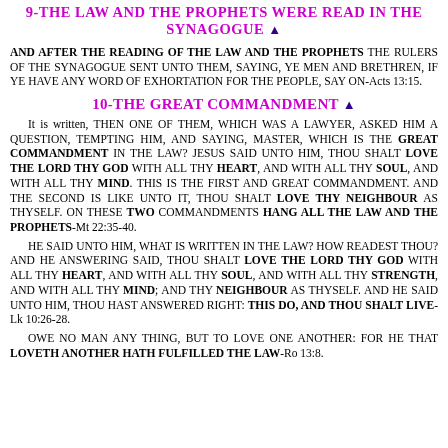9-THE LAW AND THE PROPHETS WERE READ IN THE SYNAGOGUE ▲
AND AFTER THE READING OF THE LAW AND THE PROPHETS THE RULERS OF THE SYNAGOGUE SENT UNTO THEM, SAYING, YE MEN AND BRETHREN, IF YE HAVE ANY WORD OF EXHORTATION FOR THE PEOPLE, SAY ON-Acts 13:15.
10-THE GREAT COMMANDMENT ▲
It is written, THEN ONE OF THEM, WHICH WAS A LAWYER, ASKED HIM A QUESTION, TEMPTING HIM, AND SAYING, MASTER, WHICH IS THE GREAT COMMANDMENT IN THE LAW? JESUS SAID UNTO HIM, THOU SHALT LOVE THE LORD THY GOD WITH ALL THY HEART, AND WITH ALL THY SOUL, AND WITH ALL THY MIND. THIS IS THE FIRST AND GREAT COMMANDMENT. AND THE SECOND IS LIKE UNTO IT, THOU SHALT LOVE THY NEIGHBOUR AS THYSELF. ON THESE TWO COMMANDMENTS HANG ALL THE LAW AND THE PROPHETS-Mt 22:35-40.
HE SAID UNTO HIM, WHAT IS WRITTEN IN THE LAW? HOW READEST THOU? AND HE ANSWERING SAID, THOU SHALT LOVE THE LORD THY GOD WITH ALL THY HEART, AND WITH ALL THY SOUL, AND WITH ALL THY STRENGTH, AND WITH ALL THY MIND; AND THY NEIGHBOUR AS THYSELF. AND HE SAID UNTO HIM, THOU HAST ANSWERED RIGHT: THIS DO, AND THOU SHALT LIVE-Lk 10:26-28.
OWE NO MAN ANY THING, BUT TO LOVE ONE ANOTHER: FOR HE THAT LOVETH ANOTHER HATH FULFILLED THE LAW-Ro 13:8.